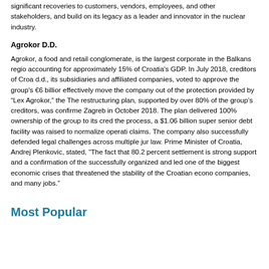significant recoveries to customers, vendors, employees, and other stakeholders, and build on its legacy as a leader and innovator in the nuclear industry.
Agrokor D.D.
Agrokor, a food and retail conglomerate, is the largest corporate in the Balkans region, accounting for approximately 15% of Croatia's GDP. In July 2018, creditors of Croat d.d., its subsidiaries and affiliated companies, voted to approve the group's €6 billion effectively move the company out of the protection provided by "Lex Agrokor," the The restructuring plan, supported by over 80% of the group's creditors, was confirmed Zagreb in October 2018. The plan delivered 100% ownership of the group to its cred the process, a $1.06 billion super senior debt facility was raised to normalize operati claims. The company also successfully defended legal challenges across multiple juri law. Prime Minister of Croatia, Andrej Plenkovic, stated, "The fact that 80.2 percent settlement is strong support and a confirmation of the successfully organized and led one of the biggest economic crises that threatened the stability of the Croatian econo companies, and many jobs."
Most Popular